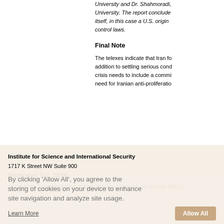University and Dr. Shahmoradi, University. The report conclude itself, in this case a U.S. origin control laws.
Final Note
The telexes indicate that Iran fo addition to settling serious cond crisis needs to include a commi need for Iranian anti-proliferatio
Institute for Science and International Security
1717 K Street NW Suite 900
Washington, D.C. 20006
All Contents Copyright of Institute for Science and International Security 1993-2
By clicking 'Allow All', you agree to the storing of cookies on your device to enhance site navigation and analyze site usage.
Learn More